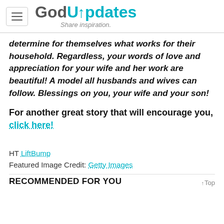GodUpdates - Share inspiration.
determine for themselves what works for their household. Regardless, your words of love and appreciation for your wife and her work are beautiful! A model all husbands and wives can follow. Blessings on you, your wife and your son!
For another great story that will encourage you, click here!
HT LiftBump
Featured Image Credit: Getty Images
RECOMMENDED FOR YOU